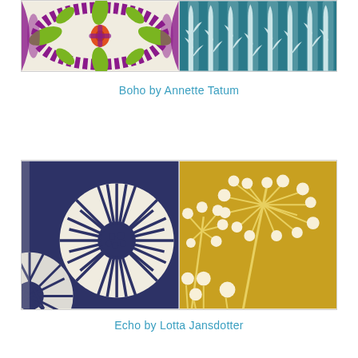[Figure (illustration): Two fabric swatches side by side: left is an ikat-style floral pattern in purple, green, orange on cream background; right is a shibori-style teal and white vertical stripe/tree pattern]
Boho by Annette Tatum
[Figure (illustration): Two fabric swatches side by side: left is a large navy blue sunflower/starburst pattern on cream; right is a mustard yellow background with white dandelion/allium silhouette]
Echo by Lotta Jansdotter